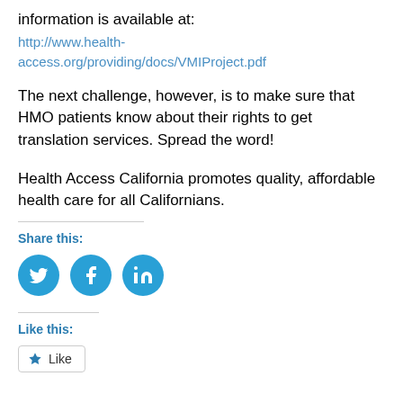information is available at:
http://www.health-access.org/providing/docs/VMIProject.pdf
The next challenge, however, is to make sure that HMO patients know about their rights to get translation services. Spread the word!
Health Access California promotes quality, affordable health care for all Californians.
Share this:
[Figure (infographic): Three circular social media share buttons: Twitter (bird icon), Facebook (f icon), LinkedIn (in icon), all in teal/blue color]
Like this:
[Figure (infographic): A Like button with a star icon and the word Like, styled as a rounded rectangle button]